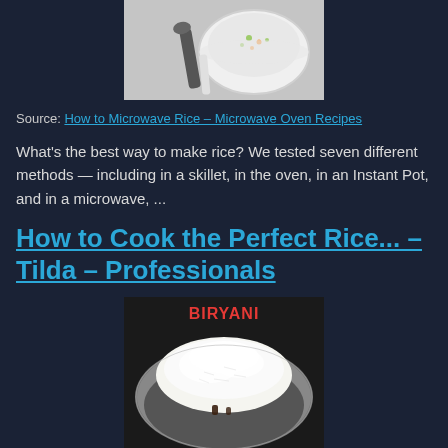[Figure (photo): Photo of a white bowl with rice/grain dish and spoon/spatula on grey background]
Source: How to Microwave Rice – Microwave Oven Recipes
What's the best way to make rice? We tested seven different methods — including in a skillet, in the oven, in an Instant Pot, and in a microwave, ...
How to Cook the Perfect Rice... – Tilda – Professionals
[Figure (photo): Photo of white basmati rice in a metal bowl/pot with BIRYANI text label at top]